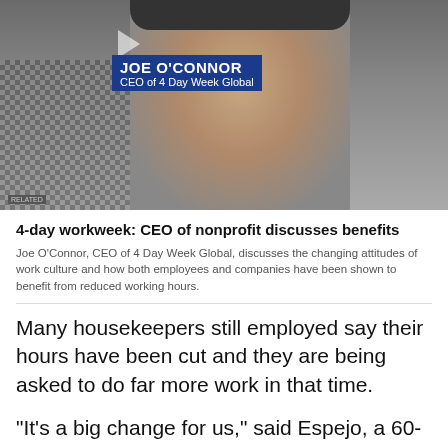[Figure (photo): Video thumbnail showing Joe O'Connor, CEO of 4 Day Week Global, with a name card overlay reading 'JOE O'CONNOR, CEO of 4 Day Week Global' and a play icon.]
4-day workweek: CEO of nonprofit discusses benefits
Joe O'Connor, CEO of 4 Day Week Global, discusses the changing attitudes of work culture and how both employees and companies have been shown to benefit from reduced working hours.
Many housekeepers still employed say their hours have been cut and they are being asked to do far more work in that time.
"It's a big change for us," said Espejo, a 60-year-old originally from the Philippines who has cleaned rooms at the world's largest Hilton for 18 years, minus about a year she was laid off during the pandemic. "We are so busy at work now. We cannot finish cleaning our